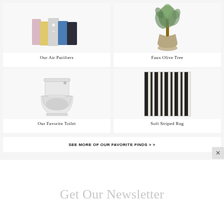[Figure (photo): Air purifiers in multiple colors (white, yellow, gray, blue, dark navy) on white background]
Our Air Purifiers
[Figure (photo): Faux olive tree in a beige pot on white background]
Faux Olive Tree
[Figure (photo): White toilet (favorite toilet) on white background]
Our Favorite Toilet
[Figure (photo): Soft striped rug in black and cream vertical stripes]
Soft Striped Rug
SEE MORE OF OUR FAVORITE FINDS > >
Get Our Newsletter